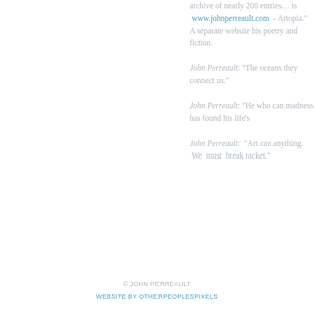archive of nearly 200 entries… is  www.johnperreault.com  - Artopia." A separate website his poetry and fiction.
John Perreault: "The oceans they connect us."
John Perreault: "He who can madness has found his life's
John Perreault: "Art can anything. We must break racket."
© JOHN PERREAULT
WEBSITE BY OTHERPEOPLESPIXELS